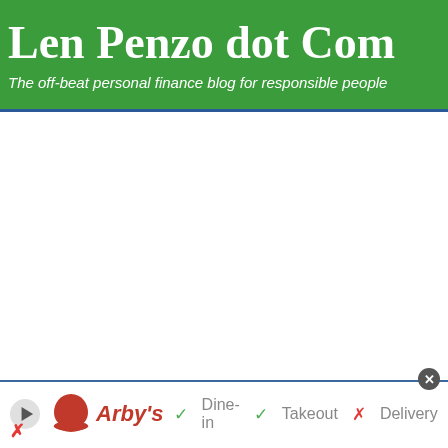Len Penzo dot Com
The off-beat personal finance blog for responsible people
[Figure (screenshot): Advertisement banner for Arby's restaurant showing Dine-in (check), Takeout (check), Delivery (X) with navigation arrow icon and close button]